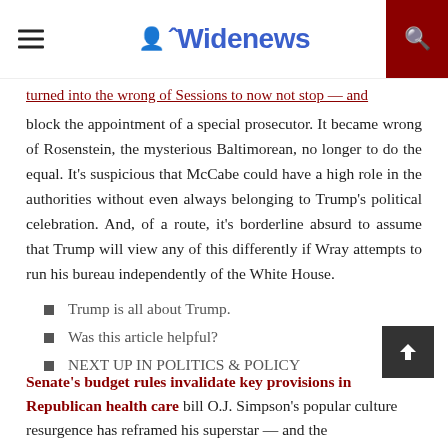Widenews
turned into the wrong of Sessions to now not stop — and block the appointment of a special prosecutor. It became wrong of Rosenstein, the mysterious Baltimorean, no longer to do the equal. It's suspicious that McCabe could have a high role in the authorities without even always belonging to Trump's political celebration. And, of a route, it's borderline absurd to assume that Trump will view any of this differently if Wray attempts to run his bureau independently of the White House.
Trump is all about Trump.
Was this article helpful?
NEXT UP IN POLITICS & POLICY
Senate's budget rules invalidate key provisions in Republican health care bill O.J. Simpson's popular culture resurgence has reframed his superstar — and the